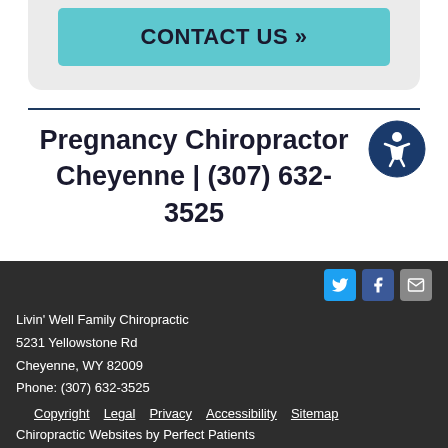[Figure (other): Teal/cyan button with bold text CONTACT US »]
Pregnancy Chiropractor Cheyenne | (307) 632-3525
[Figure (other): Accessibility icon - circular dark blue badge with wheelchair symbol]
Livin' Well Family Chiropractic
5231 Yellowstone Rd
Cheyenne, WY 82009
Phone: (307) 632-3525
Copyright   Legal   Privacy   Accessibility   Sitemap
Chiropractic Websites by Perfect Patients